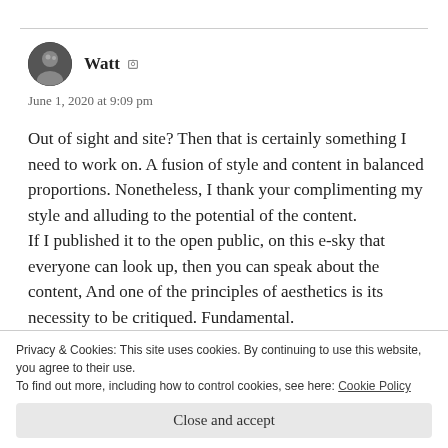[Figure (illustration): Circular avatar photo of user Watt — grayscale portrait]
Watt
June 1, 2020 at 9:09 pm
Out of sight and site? Then that is certainly something I need to work on. A fusion of style and content in balanced proportions. Nonetheless, I thank your complimenting my style and alluding to the potential of the content.
If I published it to the open public, on this e-sky that everyone can look up, then you can speak about the content, And one of the principles of aesthetics is its necessity to be critiqued. Fundamental.
Privacy & Cookies: This site uses cookies. By continuing to use this website, you agree to their use.
To find out more, including how to control cookies, see here: Cookie Policy
Close and accept